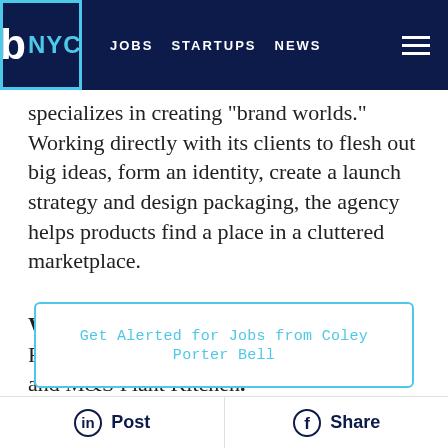b NYC | JOBS | STARTUPS | NEWS
specializes in creating "brand worlds." Working directly with its clients to flesh out big ideas, form an identity, create a launch strategy and design packaging, the agency helps products find a place in a cluttered marketplace.
Who they work with: American Express, FremantleMedia, Nescafé, Chivas Regal and M&S Plant Kitchen.
Get Alerted for Jobs from Coley Porter Bell
Post | Share